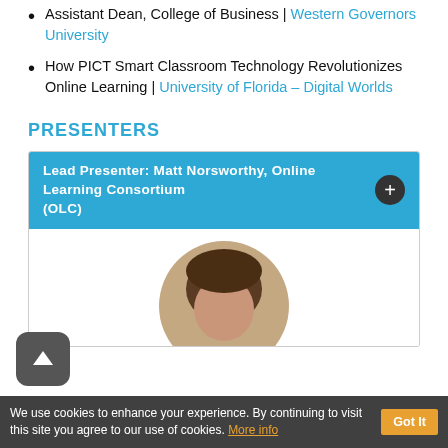Assistant Dean, College of Business | Western Governors University
How PICT Smart Classroom Technology Revolutionizes Online Learning | University of Florida – Digital Worlds
PRESENTERS
Lead Presenter: Matt Norsworthy, Online Learning Consortium (OLC)
[Figure (photo): Circular headshot photo of Matt Norsworthy]
We use cookies to enhance your experience. By continuing to visit this site you agree to our use of cookies. More info  Got It